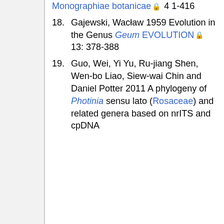Monographiae botanicae 🔒 4 1-416
18. Gajewski, Wacław 1959 Evolution in the Genus Geum EVOLUTION🔒 13: 378-388
19. Guo, Wei, Yi Yu, Ru-jiang Shen, Wen-bo Liao, Siew-wai Chin and Daniel Potter 2011 A phylogeny of Photinia sensu lato (Rosaceae) and related genera based on nrITS and cpDNA